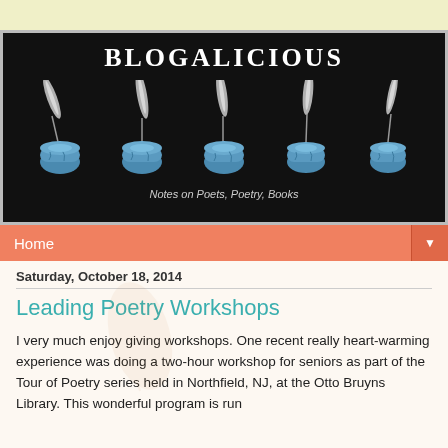[Figure (illustration): Blogalicious blog header banner with black background showing title 'BLOGALICIOUS' in white bold serif font, five ink pot and quill pen illustrations arranged in a row, and subtitle 'Notes on Poets, Poetry, Books' below]
Home
Saturday, October 18, 2014
Leading Poetry Workshops
I very much enjoy giving workshops. One recent really heart-warming experience was doing a two-hour workshop for seniors as part of the Tour of Poetry series held in Northfield, NJ, at the Otto Bruyns Library. This wonderful program is run